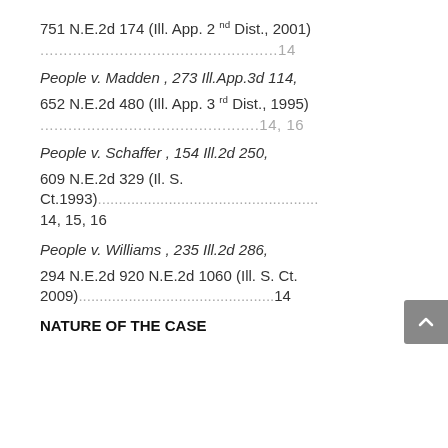751 N.E.2d 174 (Ill. App. 2nd Dist., 2001)
...................................................14
People v. Madden , 273 Ill.App.3d 114,
652 N.E.2d 480 (Ill. App. 3rd Dist., 1995)
...............................................14, 16
People v. Schaffer , 154 Ill.2d 250,
609 N.E.2d 329 (Il. S. Ct.1993)...................................................14, 15, 16
People v. Williams , 235 Ill.2d 286,
294 N.E.2d 920 N.E.2d 1060 (Ill. S. Ct. 2009)...............................................14
NATURE OF THE CASE